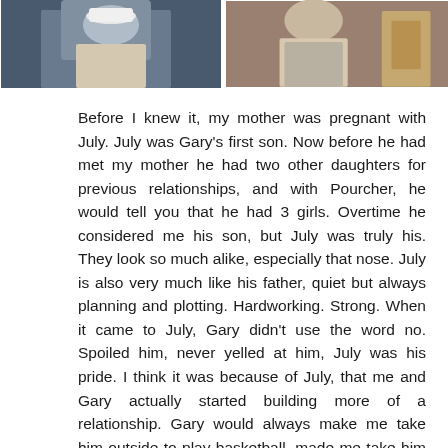[Figure (photo): Two photographs side by side at the top of the page, cropped at top. Left photo shows a person in a white shirt/hat. Right photo shows a person in a light-colored outfit indoors.]
Before I knew it, my mother was pregnant with July. July was Gary's first son. Now before he had met my mother he had two other daughters for previous relationships, and with Pourcher, he would tell you that he had 3 girls. Overtime he considered me his son, but July was truly his. They look so much alike, especially that nose. July is also very much like his father, quiet but always planning and plotting. Hardworking. Strong. When it came to July, Gary didn't use the word no. Spoiled him, never yelled at him, July was his pride. I think it was because of July, that me and Gary actually started building more of a relationship. Gary would always make me take him outside to play basketball, made me take him with me to do laundry, made me show him how to clean his sneakers, help him with his homework.